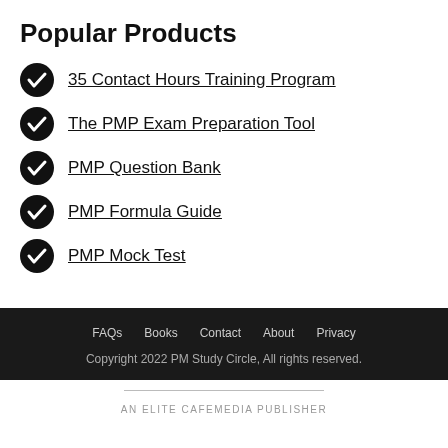Popular Products
35 Contact Hours Training Program
The PMP Exam Preparation Tool
PMP Question Bank
PMP Formula Guide
PMP Mock Test
FAQs  Books  Contact  About  Privacy
Copyright 2022 PM Study Circle, All rights reserved.
AN ELITE CAFEMEDIA PUBLISHER